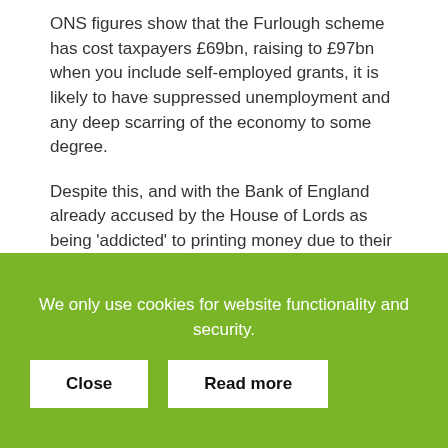ONS figures show that the Furlough scheme has cost taxpayers £69bn, raising to £97bn when you include self-employed grants, it is likely to have suppressed unemployment and any deep scarring of the economy to some degree.
Despite this, and with the Bank of England already accused by the House of Lords as being 'addicted' to printing money due to their £895bn quantitative easing programme, Governor Andrew Bailey seems keen to avoid making the same mistakes. Although economists and investors were surprised recently when the Monetary Policy Committee opted not to raise the base interest rate from the historically low
We only use cookies for website functionality and security.